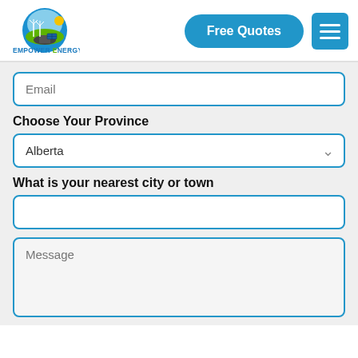[Figure (logo): Empower Energy logo with wind turbines and solar panels circular graphic, with text EMPOWER ENERGY below]
Free Quotes
[Figure (other): Hamburger menu icon (three white lines on blue rounded square background)]
Email
Choose Your Province
Alberta
What is your nearest city or town
Message